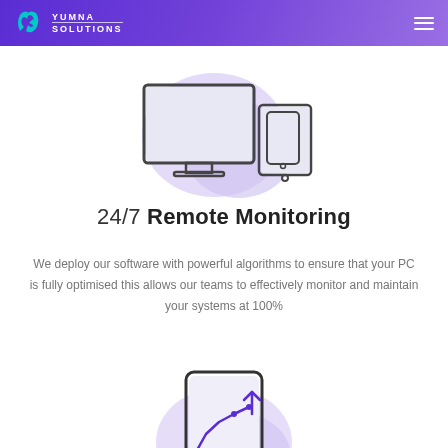YUMNA SOLUTIONS
[Figure (illustration): Desktop monitor, tablet, and smartphone device icons on a purple blob background]
24/7 Remote Monitoring
We deploy our software with powerful algorithms to ensure that your PC is fully optimised this allows our teams to effectively monitor and maintain your systems at 100%
[Figure (illustration): Smartphone with a growth/analytics chart icon on a purple blob background, partially visible at bottom]